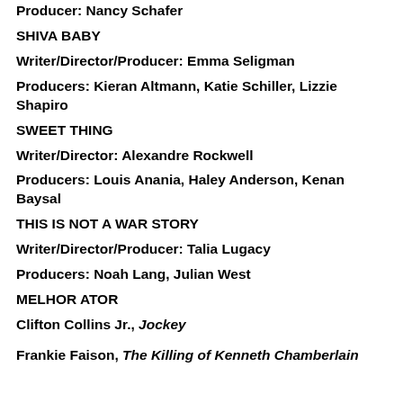Producer: Nancy Schafer
SHIVA BABY
Writer/Director/Producer: Emma Seligman
Producers: Kieran Altmann, Katie Schiller, Lizzie Shapiro
SWEET THING
Writer/Director: Alexandre Rockwell
Producers: Louis Anania, Haley Anderson, Kenan Baysal
THIS IS NOT A WAR STORY
Writer/Director/Producer: Talia Lugacy
Producers: Noah Lang, Julian West
MELHOR ATOR
Clifton Collins Jr., Jockey
Frankie Faison, The Killing of Kenneth Chamberlain